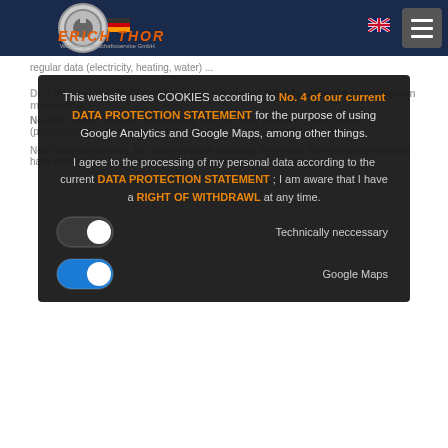[Figure (screenshot): Website header with Erich Thor logo, German and UK flag icons, and hamburger menu on dark blue background]
regular data (electricity, heating, water) ...
Do I also get the OWN consumption measured reliably readable consumption measuring
No, but: Meters installed immediately and that were installed... Regulation (predecessor)... replaced by us due to... until December 31, 2026.
New metering devices, for example when replacing them after their calibration periods have expired, will installed as a remotely readable consumption me...
This website uses COOKIES according to No. 4 of our current DATA PROTECTION STATEMENT for the purpose of using Google Analytics and Google Maps, among other things.
I agree to the processing of my personal data according to the current DATA PROTECTION STATEMENT ; I am aware that I have a RIGHT OF WITHDRAWL at any time.
Technically neccessary
Google Maps